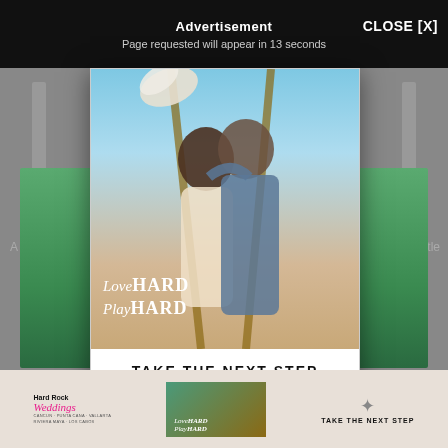Advertisement
Page requested will appear in 13 seconds
CLOSE [X]
[Figure (photo): Advertisement modal popup for Hard Rock Hotel Weddings. Top half shows a couple embracing outdoors with 'Love HARD Play HARD' text overlay. Bottom half shows 'TAKE THE NEXT STEP' headline with Hard Rock Hotel Weddings logo and locations: CANCUN, PUNTA CANA, VALLARTA, RIVIERA MAYA, LOS CABOS, AN ALL-INCLUSIVE EXPERIENCE. Behind the modal is a dimmed webpage with a tropical beach resort image.]
TAKE THE NEXT STEP
CANCUN . PUNTA CANA . VALLARTA
RIVIERA MAYA . LOS CABOS
AN ALL-INCLUSIVE EXPERIENCE